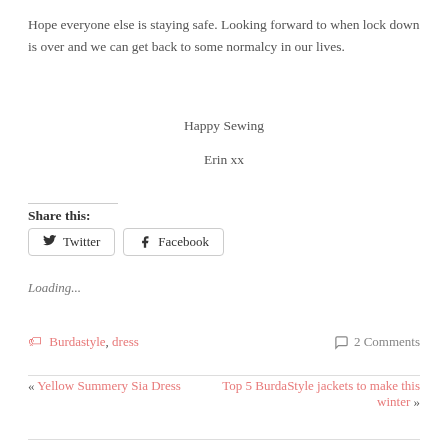Hope everyone else is staying safe. Looking forward to when lock down is over and we can get back to some normalcy in our lives.
Happy Sewing
Erin xx
Share this:
Twitter  Facebook
Loading...
Burdastyle, dress    2 Comments
« Yellow Summery Sia Dress    Top 5 BurdaStyle jackets to make this winter »